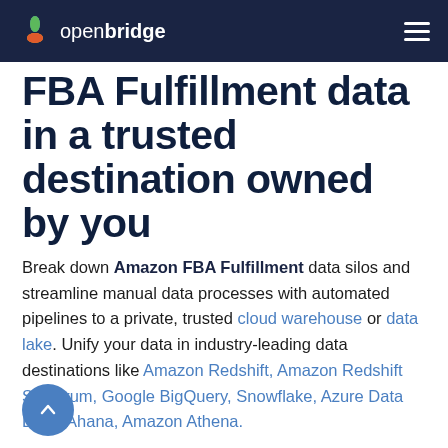openbridge
FBA Fulfillment data in a trusted destination owned by you
Break down Amazon FBA Fulfillment data silos and streamline manual data processes with automated pipelines to a private, trusted cloud warehouse or data lake. Unify your data in industry-leading data destinations like Amazon Redshift, Amazon Redshift Spectrum, Google BigQuery, Snowflake, Azure Data Lake, Ahana, Amazon Athena.